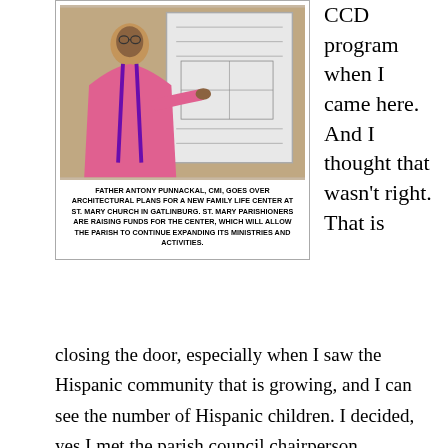[Figure (photo): Father Antony Punnackal, CMI, standing in front of a white board/architectural plan display, wearing pink vestments, pointing at the plans.]
FATHER ANTONY PUNNACKAL, CMI, GOES OVER ARCHITECTURAL PLANS FOR A NEW FAMILY LIFE CENTER AT ST. MARY CHURCH IN GATLINBURG. ST. MARY PARISHIONERS ARE RAISING FUNDS FOR THE CENTER, WHICH WILL ALLOW THE PARISH TO CONTINUE EXPANDING ITS MINISTRIES AND ACTIVITIES.
CCD program when I came here. And I thought that wasn't right. That is closing the door, especially when I saw the Hispanic community that is growing, and I can see the number of Hispanic children. I decided, yes I met the parish council chairperson immediately after I arrived, I discussed the details of the parish with the chairperson. He asked me if I would start a CCD program here. I asked him why there is not a CCD program already, and he said there